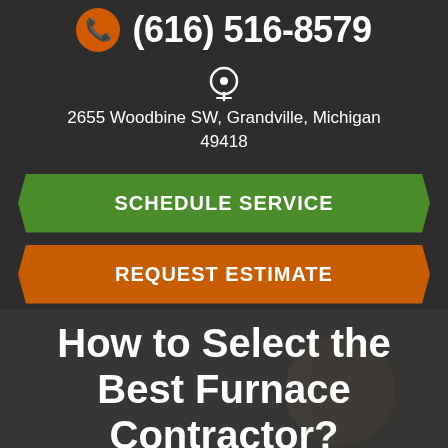(616) 516-8579
2655 Woodbine SW, Grandville, Michigan 49418
SCHEDULE SERVICE
REQUEST ESTIMATE
How to Select the Best Furnace Contractor?